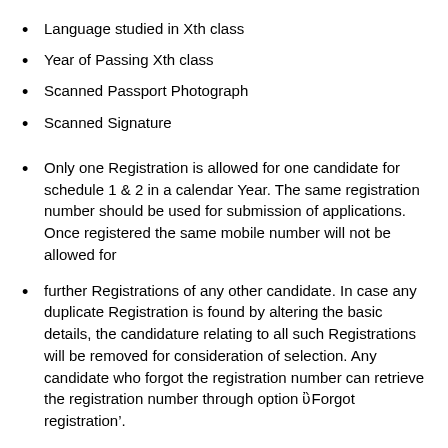Language studied in Xth class
Year of Passing Xth class
Scanned Passport Photograph
Scanned Signature
Only one Registration is allowed for one candidate for schedule 1 & 2 in a calendar Year. The same registration number should be used for submission of applications. Once registered the same mobile number will not be allowed for
further Registrations of any other candidate. In case any duplicate Registration is found by altering the basic details, the candidature relating to all such Registrations will be removed for consideration of selection. Any candidate who forgot the registration number can retrieve the registration number through option ‘Forgot registration’.